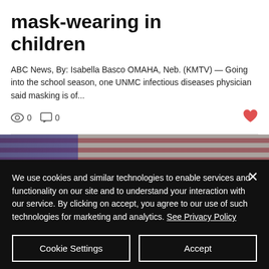mask-wearing in children
ABC News, By: Isabella Basco OMAHA, Neb. (KMTV) — Going into the school season, one UNMC infectious diseases physician said masking is of...
0  0
[Figure (photo): Photo of an American flag with dark wooden background]
We use cookies and similar technologies to enable services and functionality on our site and to understand your interaction with our service. By clicking on accept, you agree to our use of such technologies for marketing and analytics. See Privacy Policy
Cookie Settings  Accept